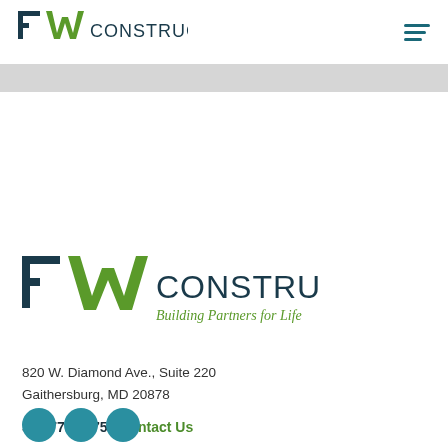[Figure (logo): TW Construction logo in navbar — T and W letterforms in dark teal and green, with CONSTRUCTION text in dark teal]
[Figure (logo): TW Construction logo in footer area — larger version with tagline Building Partners for Life in green italic]
820 W. Diamond Ave., Suite 220
Gaithersburg, MD 20878
301.770.2275 / Contact Us